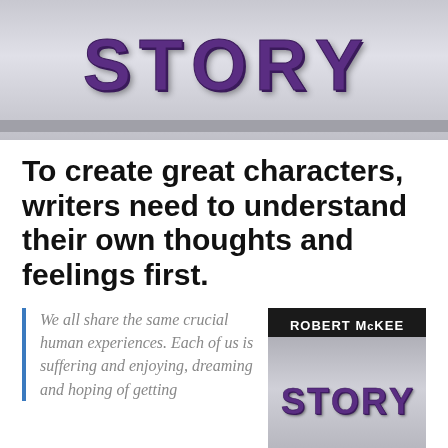[Figure (photo): Close-up photo of large purple 3D block letters spelling STORY on a light gray background, bottom portion of letters visible]
To create great characters, writers need to understand their own thoughts and feelings first.
We all share the same crucial human experiences. Each of us is suffering and enjoying, dreaming and hoping of getting
[Figure (photo): Book cover of STORY by Robert McKee, black background with white author name at top and purple 3D block letters spelling STORY on gray striped background]